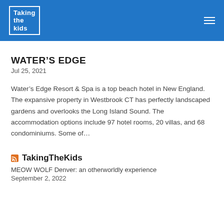Taking the Kids
WATER'S EDGE
Jul 25, 2021
Water's Edge Resort & Spa is a top beach hotel in New England. The expansive property in Westbrook CT has perfectly landscaped gardens and overlooks the Long Island Sound. The accommodation options include 97 hotel rooms, 20 villas, and 68 condominiums. Some of...
TakingTheKids
MEOW WOLF Denver: an otherworldly experience
September 2, 2022